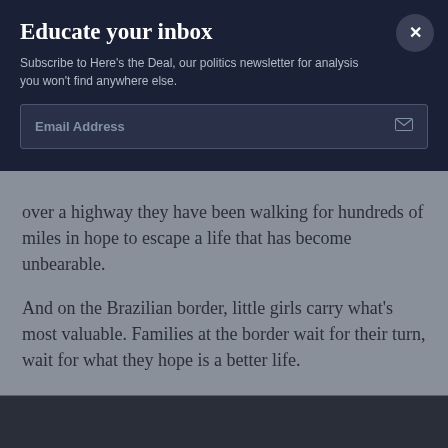Educate your inbox
Subscribe to Here's the Deal, our politics newsletter for analysis you won't find anywhere else.
Email Address
over a highway they have been walking for hundreds of miles in hope to escape a life that has become unbearable.
And on the Brazilian border, little girls carry what's most valuable. Families at the border wait for their turn, wait for what they hope is a better life.